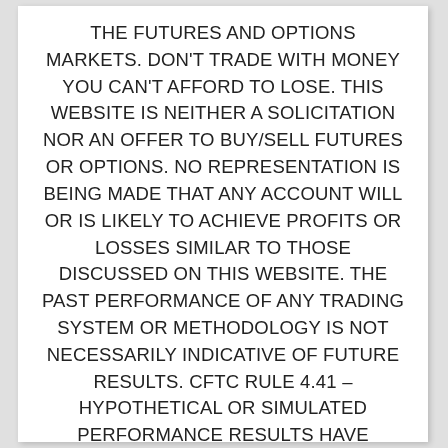THE FUTURES AND OPTIONS MARKETS. DON'T TRADE WITH MONEY YOU CAN'T AFFORD TO LOSE. THIS WEBSITE IS NEITHER A SOLICITATION NOR AN OFFER TO BUY/SELL FUTURES OR OPTIONS. NO REPRESENTATION IS BEING MADE THAT ANY ACCOUNT WILL OR IS LIKELY TO ACHIEVE PROFITS OR LOSSES SIMILAR TO THOSE DISCUSSED ON THIS WEBSITE. THE PAST PERFORMANCE OF ANY TRADING SYSTEM OR METHODOLOGY IS NOT NECESSARILY INDICATIVE OF FUTURE RESULTS. CFTC RULE 4.41 – HYPOTHETICAL OR SIMULATED PERFORMANCE RESULTS HAVE CERTAIN LIMITATIONS. UNLIKE AN ACTUAL